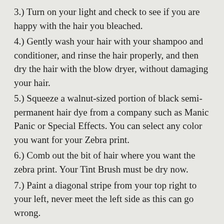3.) Turn on your light and check to see if you are happy with the hair you bleached.
4.) Gently wash your hair with your shampoo and conditioner, and rinse the hair properly, and then dry the hair with the blow dryer, without damaging your hair.
5.) Squeeze a walnut-sized portion of black semi-permanent hair dye from a company such as Manic Panic or Special Effects. You can select any color you want for your Zebra print.
6.) Comb out the bit of hair where you want the zebra print. Your Tint Brush must be dry now.
7.) Paint a diagonal stripe from your top right to your left, never meet the left side as this can go wrong.
8.) Then from your left side, start another stripe down the shaft of your hair.
9.) Continue down the hair with stripes from the right